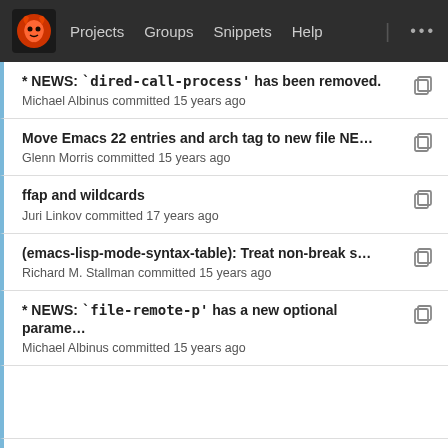Projects  Groups  Snippets  Help
* NEWS: `dired-call-process' has been removed.
Michael Albinus committed 15 years ago
Move Emacs 22 entries and arch tag to new file NE...
Glenn Morris committed 15 years ago
ffap and wildcards
Juri Linkov committed 17 years ago
(emacs-lisp-mode-syntax-table): Treat non-break s...
Richard M. Stallman committed 15 years ago
* NEWS: `file-remote-p' has a new optional parame...
Michael Albinus committed 15 years ago
*** empty log message ***
Richard M. Stallman committed 15 years ago